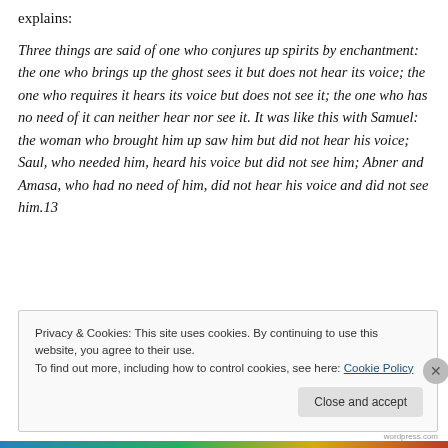explains:
Three things are said of one who conjures up spirits by enchantment: the one who brings up the ghost sees it but does not hear its voice; the one who requires it hears its voice but does not see it; the one who has no need of it can neither hear nor see it. It was like this with Samuel: the woman who brought him up saw him but did not hear his voice; Saul, who needed him, heard his voice but did not see him; Abner and Amasa, who had no need of him, did not hear his voice and did not see him.13
Privacy & Cookies: This site uses cookies. By continuing to use this website, you agree to their use.
To find out more, including how to control cookies, see here: Cookie Policy
Close and accept